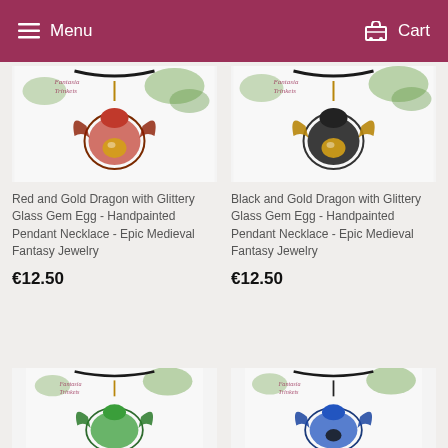Menu   Cart
[Figure (photo): Red and Gold Dragon pendant necklace with glittery glass gem egg on white background with greenery]
Red and Gold Dragon with Glittery Glass Gem Egg - Handpainted Pendant Necklace - Epic Medieval Fantasy Jewelry
€12.50
[Figure (photo): Black and Gold Dragon pendant necklace with glittery glass gem egg on white background with greenery]
Black and Gold Dragon with Glittery Glass Gem Egg - Handpainted Pendant Necklace - Epic Medieval Fantasy Jewelry
€12.50
[Figure (photo): Green dragon pendant necklace - Fantasia Trinkets - partially visible at bottom]
[Figure (photo): Blue dragon pendant necklace - Fantasia Trinkets - partially visible at bottom]